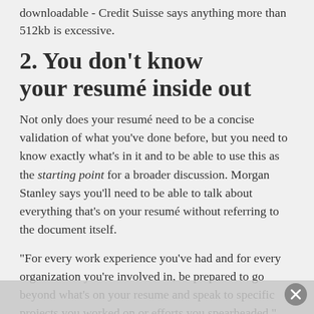downloadable - Credit Suisse says anything more than 512kb is excessive.
2. You don't know your resumé inside out
Not only does your resumé need to be a concise validation of what you've done before, but you need to know exactly what's in it and to be able to use this as the starting point for a broader discussion. Morgan Stanley says you'll need to be able to talk about everything that's on your resumé without referring to the document itself.
"For every work experience you've had and for every organization you're involved in, be prepared to go beyond what's on your resume and speak to specific projects you worked on or efforts you spearheaded," says a recruiter at Goldman Sachs.  "Provide details on what your responsibilities were, what skills you applied and what learnings you took away from the experience. Then